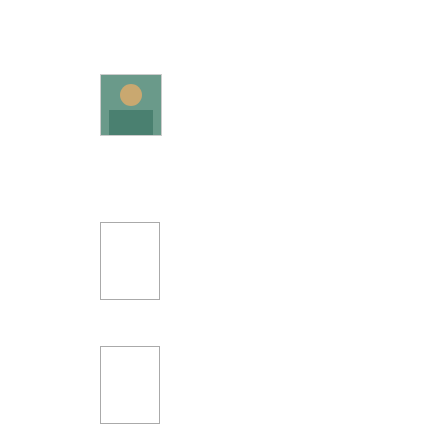14 August 2019 at 08:25
Susan Heather said...
Have you had a ride on it. Only goes about halfway t... blog and it was way back in 2013). There was an inte...
14 August 2019 at 10:11
Amy said...
no we didn't have a ride in it, we were only passing th...
14 August 2019 at 13:12
Yogi♪♪♪ said...
That's cool!! There are several trains here in the stat...
14 August 2019 at 14:11